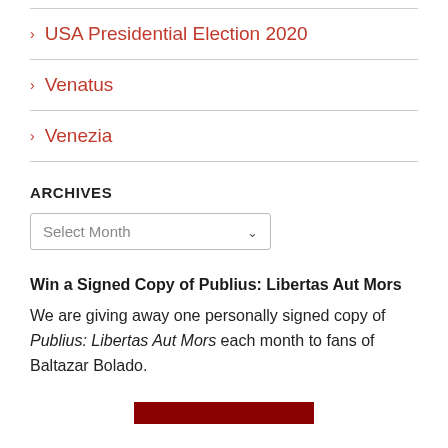USA Presidential Election 2020
Venatus
Venezia
ARCHIVES
Select Month
Win a Signed Copy of Publius: Libertas Aut Mors
We are giving away one personally signed copy of Publius: Libertas Aut Mors each month to fans of Baltazar Bolado.